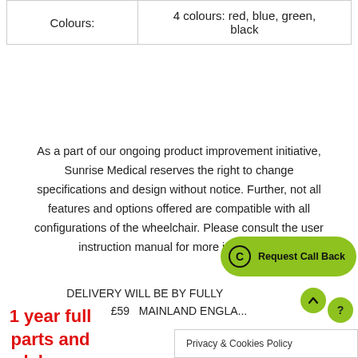| Colours: | 4 colours: red, blue, green, black |
As a part of our ongoing product improvement initiative, Sunrise Medical reserves the right to change specifications and design without notice. Further, not all features and options offered are compatible with all configurations of the wheelchair. Please consult the user instruction manual for more information
DELIVERY WILL BE BY FULLY
£59  MAINLAND ENGLA...
1 year full parts and labour warranty included
Privacy & Cookies Policy